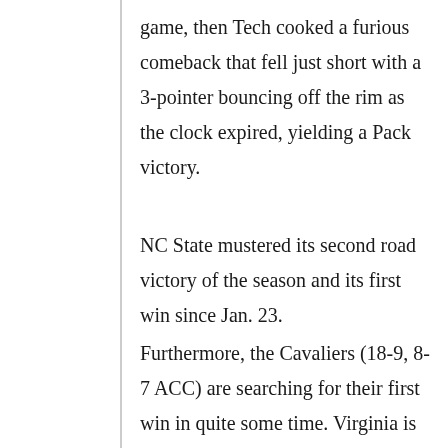game, then Tech cooked a furious comeback that fell just short with a 3-pointer bouncing off the rim as the clock expired, yielding a Pack victory.
NC State mustered its second road victory of the season and its first win since Jan. 23.
Furthermore, the Cavaliers (18-9, 8-7 ACC) are searching for their first win in quite some time. Virginia is currently on a four-game losing streak, dropping games to Virginia Tech, Duke, UNC-Chapel Hill and Miami.
The Cavs have struggled over the past four games, as well as the entire season with offense.